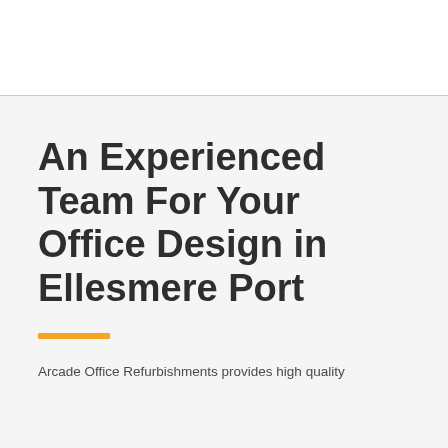An Experienced Team For Your Office Design in Ellesmere Port
Arcade Office Refurbishments provides high quality